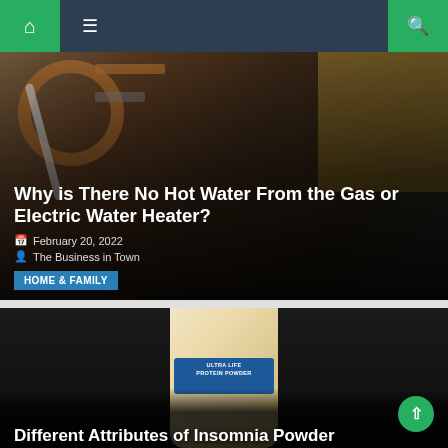Navigation bar with home icon, menu, and search
[Figure (photo): Photo of a person working on a gas water heater with copper pipes visible]
Why is There No Hot Water From the Gas or Electric Water Heater?
February 20, 2022
The Business in Town
HOME & FAMILY
[Figure (photo): Photo of a protein/supplement powder container with white/beige body and blue label on dark background]
Different Attributes of Insomnia Powder